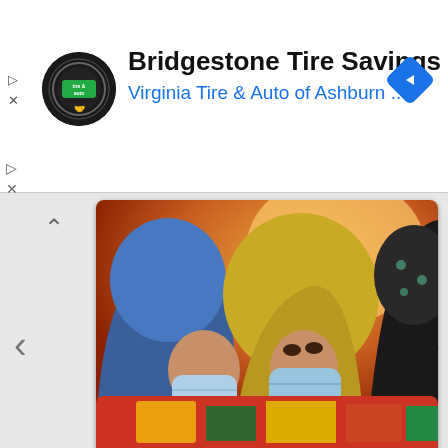[Figure (screenshot): Advertisement banner for Bridgestone Tire Savings from Virginia Tire & Auto of Ashburn, with circular logo and blue navigation diamond icon]
Bridgestone Tire Savings
Virginia Tire & Auto of Ashburn ...
[Figure (photo): Photo of Afghan women wearing hijabs and face masks in a crowd]
What Is The Legal Status Of Afghans Coming To...
[Figure (photo): Partial view of another article image at the bottom]